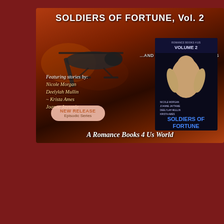[Figure (illustration): Book cover promotional image for 'Soldiers of Fortune, Vol. 2' showing a military helicopter over an explosive orange background with a book cover insert featuring a shirtless man. Text includes title, authors (Nicole Morgan, Deelylah Mullin, Krista Ames, Joanne Jaytanie), '...AND THESE ARE THEIR STORIES', 'NEW RELEASE Episodic Series', and 'A Romance Books 4 Us World'.]
[Figure (illustration): Promotional panel on grey-green textured background for 'Dogs of Fortune by Joanne Jaytanie, Soldiers of Fortune, Vol. 2' with book blurb text about Blair Sellick and PTSD service dogs.]